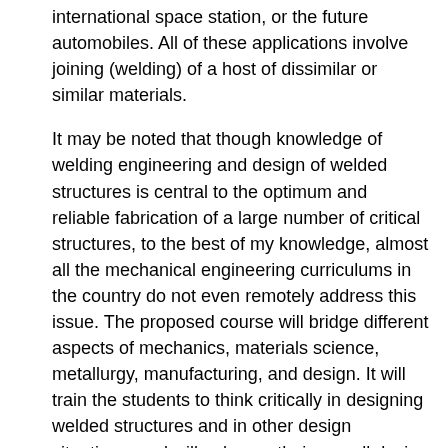international space station, or the future automobiles. All of these applications involve joining (welding) of a host of dissimilar or similar materials.
It may be noted that though knowledge of welding engineering and design of welded structures is central to the optimum and reliable fabrication of a large number of critical structures, to the best of my knowledge, almost all the mechanical engineering curriculums in the country do not even remotely address this issue. The proposed course will bridge different aspects of mechanics, materials science, metallurgy, manufacturing, and design. It will train the students to think critically in designing welded structures and in other design situations, and will enhance their overall design experience.